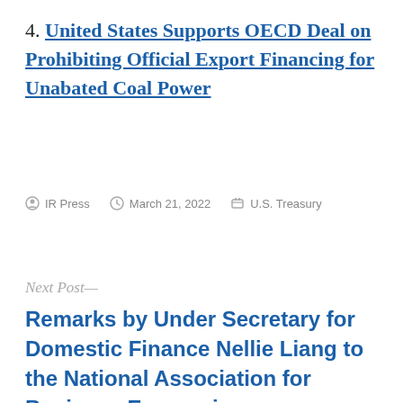4. United States Supports OECD Deal on Prohibiting Official Export Financing for Unabated Coal Power
By IR Press   March 21, 2022   U.S. Treasury
Next Post—
Remarks by Under Secretary for Domestic Finance Nellie Liang to the National Association for Business Economics